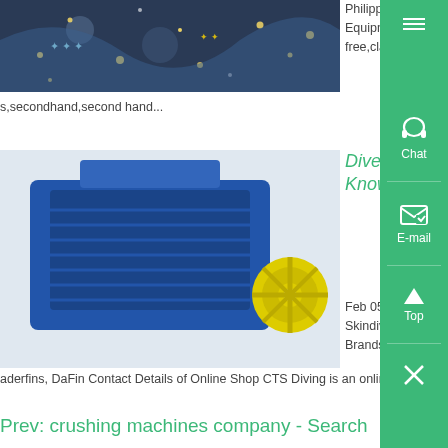[Figure (photo): Decorative image with sparkling lights in top-left area]
Philippines Used Diving Equipment for Buy, Sell Adpost Classifieds - Philippines Diving Equipment for Sale, Buy, Sell in 1000 cities, 500 regions worldwide in Philippines - free,classified ad,classified...
s,secondhand,second hand...
[Figure (photo): Blue industrial crushing machine with yellow wheel]
Dive Shops In The Philippines - Where To Buy Diving Gear - Know More
Feb 05, 2021 0183 32 We ship anywhere in the Philippin Products for Sale Freediving / Skindiving / Spearfishing Accessories, Snorkel, Bi-Fins, Monofins, Blades foot Wetsuits, Brands They Carry Pathos, B...
aderfins, DaFin Contact Details of Online Shop CTS Diving is an online...sed in Manila no physical store in Manila CTS DIVING...
Prev: crushing machines company - Search